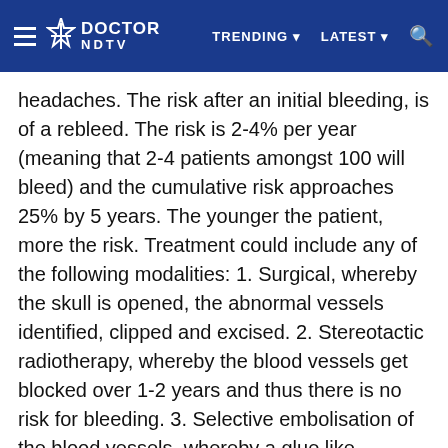DOCTOR NDTV  TRENDING  LATEST
headaches. The risk after an initial bleeding, is of a rebleed. The risk is 2-4% per year (meaning that 2-4 patients amongst 100 will bleed) and the cumulative risk approaches 25% by 5 years. The younger the patient, more the risk. Treatment could include any of the following modalities: 1. Surgical, whereby the skull is opened, the abnormal vessels identified, clipped and excised. 2. Stereotactic radiotherapy, whereby the blood vessels get blocked over 1-2 years and thus there is no risk for bleeding. 3. Selective embolisation of the blood vessels, whereby a glue like substance is injected during selective angiogram so as to block the abnormal vessels. In expert hands, the risk of morbidity and mortality is 0-2% which is rather good. But the course of treatment will depend upon variables like: size and location (whether in a critical site or deep